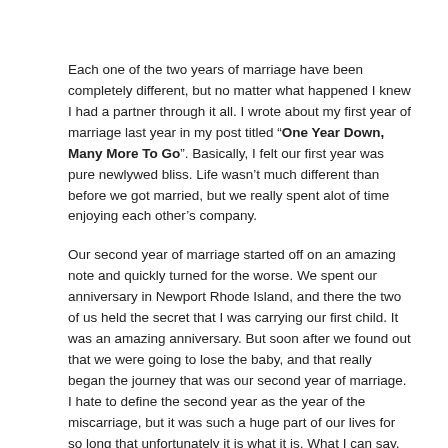Each one of the two years of marriage have been completely different, but no matter what happened I knew I had a partner through it all. I wrote about my first year of marriage last year in my post titled "One Year Down, Many More To Go". Basically, I felt our first year was pure newlywed bliss. Life wasn't much different than before we got married, but we really spent alot of time enjoying each other's company.
Our second year of marriage started off on an amazing note and quickly turned for the worse. We spent our anniversary in Newport Rhode Island, and there the two of us held the secret that I was carrying our first child. It was an amazing anniversary. But soon after we found out that we were going to lose the baby, and that really began the journey that was our second year of marriage. I hate to define the second year as the year of the miscarriage, but it was such a huge part of our lives for so long that unfortunately it is what it is. What I can say, is that this journey showed me even more of the man that I had married. In the better's and worses of marriage...we were forced to see some of the worse. But it reminded me how much I truly need Captain Awesome in my corner. We held strong together through it all, and I took comfort in knowing that he was my rock. He was there for me through the sadness